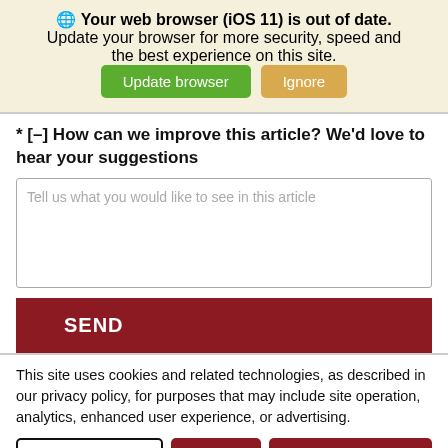🌐 Your web browser (iOS 11) is out of date. Update your browser for more security, speed and the best experience on this site.
[Figure (screenshot): Two buttons: green 'Update browser' button and tan/gold 'Ignore' button]
* [-] How can we improve this article? We'd love to hear your suggestions
Tell us what you would like to see in this article
SEND
This site uses cookies and related technologies, as described in our privacy policy, for purposes that may include site operation, analytics, enhanced user experience, or advertising.
Manage Settings  Accept  Decline